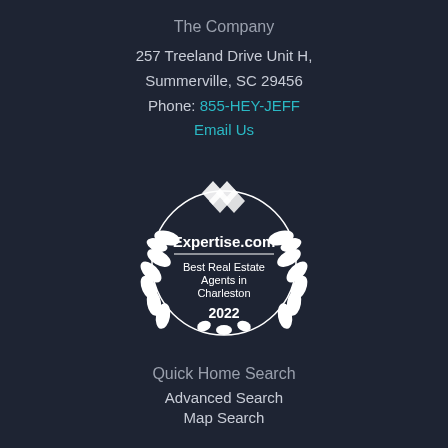The Company
257 Treeland Drive Unit H, Summerville, SC 29456
Phone: 855-HEY-JEFF
Email Us
[Figure (logo): Expertise.com award badge - Best Real Estate Agents in Charleston 2022, with laurel wreath and diamond logo]
Quick Home Search
Advanced Search
Map Search